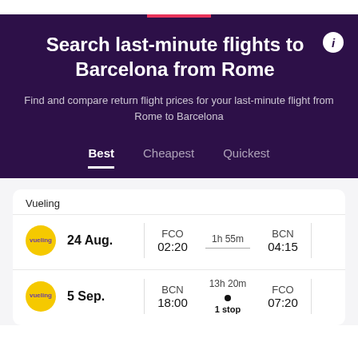Search last-minute flights to Barcelona from Rome
Find and compare return flight prices for your last-minute flight from Rome to Barcelona
Best   Cheapest   Quickest
Vueling
24 Aug.   FCO 02:20   1h 55m   BCN 04:15
5 Sep.   BCN 18:00   13h 20m  1 stop   FCO 07:20